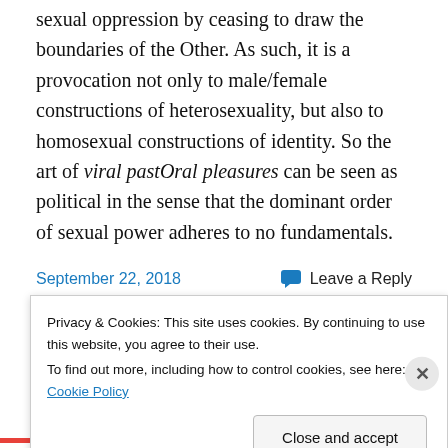sexual oppression by ceasing to draw the boundaries of the Other. As such, it is a provocation not only to male/female constructions of heterosexuality, but also to homosexual constructions of identity. So the art of viral pastOral pleasures can be seen as political in the sense that the dominant order of sexual power adheres to no fundamentals.
September 22, 2018
Leave a Reply
Privacy & Cookies: This site uses cookies. By continuing to use this website, you agree to their use.
To find out more, including how to control cookies, see here: Cookie Policy
Close and accept